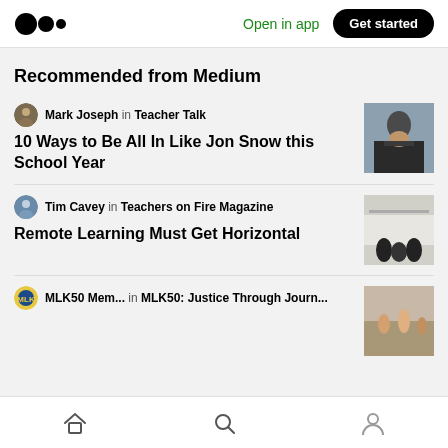Medium logo | Open in app | Get started
Recommended from Medium
Mark Joseph in Teacher Talk
10 Ways to Be All In Like Jon Snow this School Year
[Figure (photo): Photo of Jon Snow character in dark fur costume]
Tim Cavey in Teachers on Fire Magazine
Remote Learning Must Get Horizontal
[Figure (photo): Photo of classroom silhouettes with whiteboard]
MLK50 Mem... in MLK50: Justice Through Journ...
[Figure (photo): Partial photo of people at an event]
Home | Search | Profile